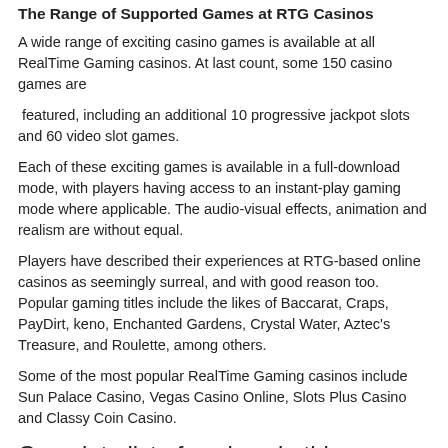The Range of Supported Games at RTG Casinos
A wide range of exciting casino games is available at all RealTime Gaming casinos. At last count, some 150 casino games are
featured, including an additional 10 progressive jackpot slots and 60 video slot games.
Each of these exciting games is available in a full-download mode, with players having access to an instant-play gaming mode where applicable. The audio-visual effects, animation and realism are without equal.
Players have described their experiences at RTG-based online casinos as seemingly surreal, and with good reason too. Popular gaming titles include the likes of Baccarat, Craps, PayDirt, keno, Enchanted Gardens, Crystal Water, Aztec's Treasure, and Roulette, among others.
Some of the most popular RealTime Gaming casinos include Sun Palace Casino, Vegas Casino Online, Slots Plus Casino and Classy Coin Casino.
Complete list of casinos in this category:
> Cherry Jackpot Casino
> Cherry Gold Casino